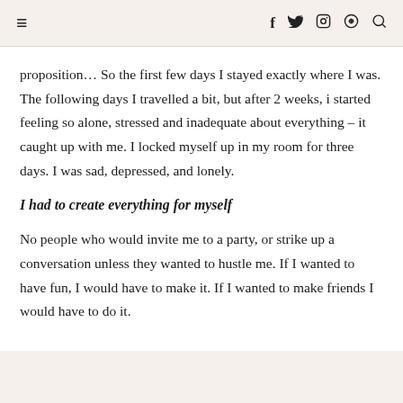≡  f  𝕏  ◎  ⊕  🔍
proposition… So the first few days I stayed exactly where I was. The following days I travelled a bit, but after 2 weeks, i started feeling so alone, stressed and inadequate about everything – it caught up with me. I locked myself up in my room for three days. I was sad, depressed, and lonely.
I had to create everything for myself
No people who would invite me to a party, or strike up a conversation unless they wanted to hustle me. If I wanted to have fun, I would have to make it. If I wanted to make friends I would have to do it.